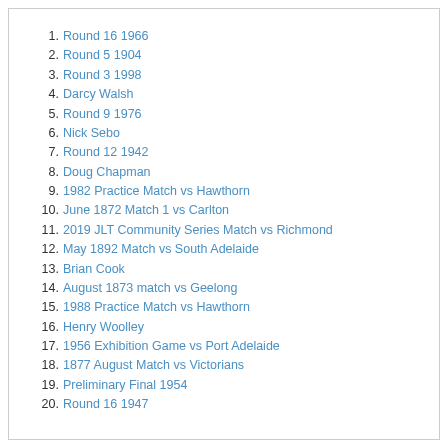1. Round 16 1966
2. Round 5 1904
3. Round 3 1998
4. Darcy Walsh
5. Round 9 1976
6. Nick Sebo
7. Round 12 1942
8. Doug Chapman
9. 1982 Practice Match vs Hawthorn
10. June 1872 Match 1 vs Carlton
11. 2019 JLT Community Series Match vs Richmond
12. May 1892 Match vs South Adelaide
13. Brian Cook
14. August 1873 match vs Geelong
15. 1988 Practice Match vs Hawthorn
16. Henry Woolley
17. 1956 Exhibition Game vs Port Adelaide
18. 1877 August Match vs Victorians
19. Preliminary Final 1954
20. Round 16 1947